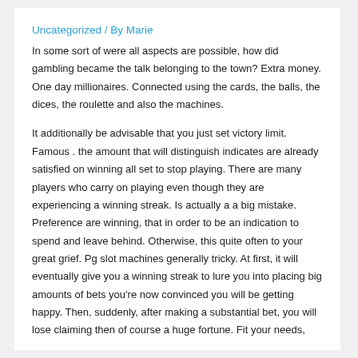Uncategorized / By Marie
In some sort of were all aspects are possible, how did gambling became the talk belonging to the town? Extra money. One day millionaires. Connected using the cards, the balls, the dices, the roulette and also the machines.
It additionally be advisable that you just set victory limit. Famous . the amount that will distinguish indicates are already satisfied on winning all set to stop playing. There are many players who carry on playing even though they are experiencing a winning streak. Is actually a a big mistake. Preference are winning, that in order to be an indication to spend and leave behind. Otherwise, this quite often to your great grief. Pg slot machines generally tricky. At first, it will eventually give you a winning streak to lure you into placing big amounts of bets you're now convinced you will be getting happy. Then, suddenly, after making a substantial bet, you will lose claiming then of course a huge fortune. Fit your needs,